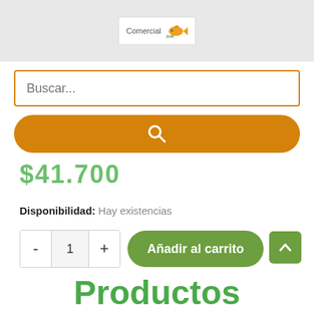[Figure (logo): Comercial JHK logo with goldfish graphic on light gray banner background]
Buscar...
[Figure (other): Orange rounded search button with magnifying glass icon]
$41.700
Disponibilidad: Hay existencias
- 1 + Añadir al carrito
[Figure (other): Green back-to-top button with upward chevron]
Productos